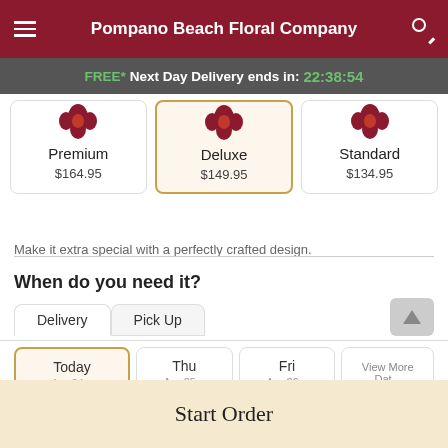Pompano Beach Floral Company
FREE* Next Day Delivery ends in: 22:38:54
Premium $164.95 | Deluxe $149.95 | Standard $134.95
Make it extra special with a perfectly crafted design.
When do you need it?
Delivery | Pick Up
Today | Thu | Fri | View More
Start Order